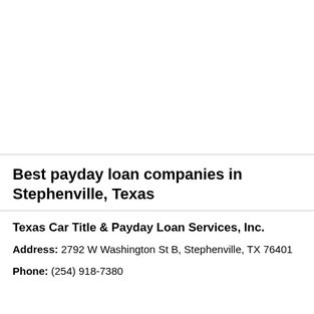Best payday loan companies in Stephenville, Texas
Texas Car Title & Payday Loan Services, Inc.
Address: 2792 W Washington St B, Stephenville, TX 76401
Phone: (254) 918-7380